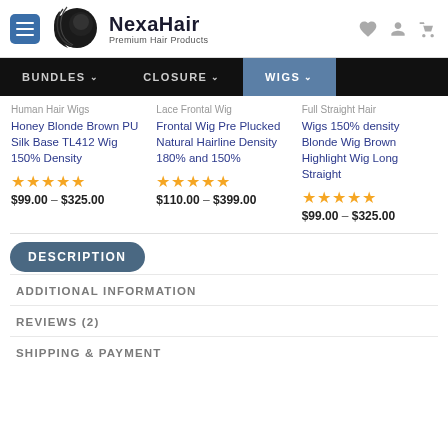[Figure (logo): NexaHair logo with silhouette of woman with flowing hair and brand name]
NexaHair - Premium Hair Products
BUNDLES | CLOSURE | WIGS
Human Hair Wigs Honey Blonde Brown PU Silk Base TL412 Wig 150% Density
★★★★★
$99.00 – $325.00
Lace Frontal Wig Pre Plucked Natural Hairline Density 180% and 150%
★★★★★
$110.00 – $399.00
Full Straight Hair Wigs 150% density Blonde Wig Brown Highlight Wig Long Straight
★★★★★
$99.00 – $325.00
DESCRIPTION
ADDITIONAL INFORMATION
REVIEWS (2)
SHIPPING & PAYMENT